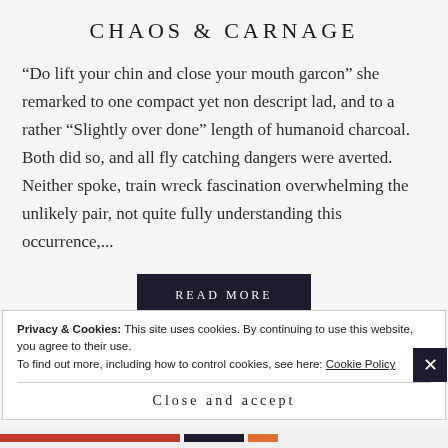Chaos & Carnage
“Do lift your chin and close your mouth garcon” she remarked to one compact yet non descript lad, and to a rather “Slightly over done” length of humanoid charcoal. Both did so, and all fly catching dangers were averted. Neither spoke, train wreck fascination overwhelming the unlikely pair, not quite fully understanding this occurrence,...
[Figure (other): READ MORE button - dark navy rectangular button with white uppercase spaced text]
Privacy & Cookies: This site uses cookies. By continuing to use this website, you agree to their use.
To find out more, including how to control cookies, see here: Cookie Policy
Close and accept